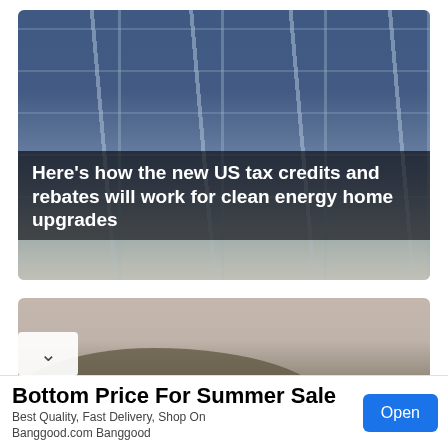[Figure (photo): Photo of solar panels on a rooftop with pigeons/birds visible along the bottom edge. Text overlay reads: Here's how the new US tax credits and rebates will work for clean energy home upgrades]
Here's how the new US tax credits and rebates will work for clean energy home upgrades
[Figure (photo): Photo of a car in a desert/hilly landscape with a muted sky background]
Bottom Price For Summer Sale
Best Quality, Fast Delivery, Shop On Banggood.com Banggood